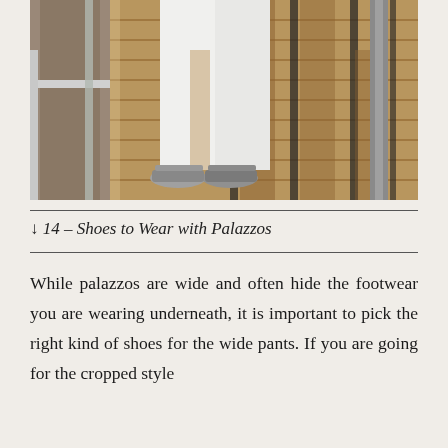[Figure (photo): Close-up photo of a person wearing wide white palazzo pants and silver sandal heels, standing on a wooden deck/boardwalk with metal railings visible. The photo is cropped to show only from roughly the waist down.]
↓ 14 – Shoes to Wear with Palazzos
While palazzos are wide and often hide the footwear you are wearing underneath, it is important to pick the right kind of shoes for the wide pants. If you are going for the cropped style